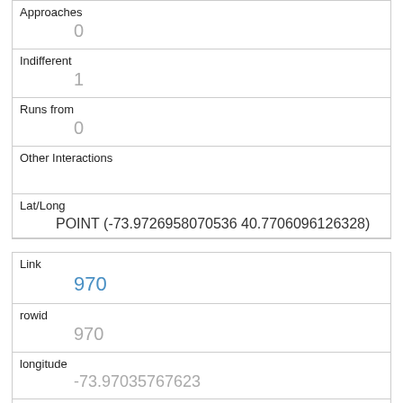| Approaches | 0 |
| Indifferent | 1 |
| Runs from | 0 |
| Other Interactions |  |
| Lat/Long | POINT (-73.9726958070536 40.7706096126328) |
| Link | 970 |
| rowid | 970 |
| longitude | -73.97035767623 |
| latitude | 40.77140364877471 |
| Unique Squirrel ID | 11-PM-1010-03 |